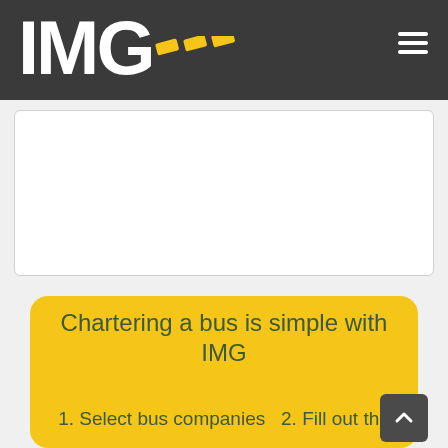[Figure (logo): IMG logo with yellow dashes on dark grey navigation bar with hamburger menu icon]
[Figure (screenshot): White card / form area below nav bar]
Chartering a bus is simple with IMG
1. Select bus companies  2. Fill out the